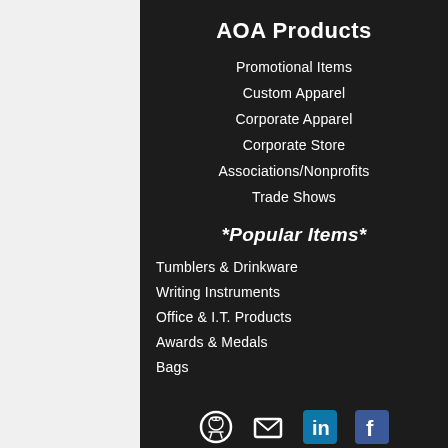AOA Products
Promotional Items
Custom Apparel
Corporate Apparel
Corporate Store
Associations/Nonprofits
Trade Shows
*Popular Items*
Tumblers & Drinkware
Writing Instruments
Office & I.T. Products
Awards & Medals
Bags
[Figure (other): Social media icons and navigation icons at page bottom]